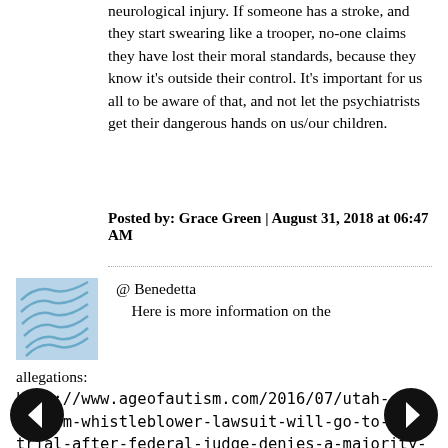neurological injury. If someone has a stroke, and they start swearing like a trooper, no-one claims they have lost their moral standards, because they know it's outside their control. It's important for us all to be aware of that, and not let the psychiatrists get their dangerous hands on us/our children.
Posted by: Grace Green | August 31, 2018 at 06:47 AM
[Figure (illustration): User avatar icon with blue wave/lines pattern]
@ Benedetta
 Here is more information on the allegations:
http://www.ageofautism.com/2016/07/utah-autism-whistleblower-lawsuit-will-go-to-trial-after-federal-judge-denies-a-majority-of-defendants-motions-to-dismiss.html